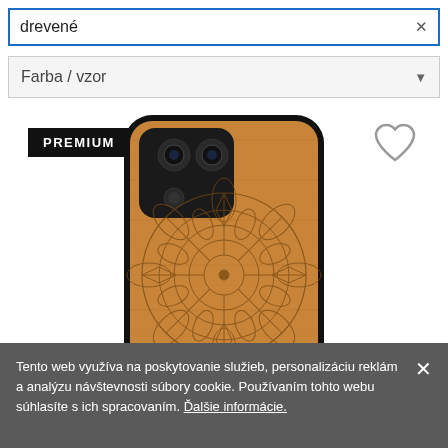drevené
Farba / vzor
PREMIUM
[Figure (photo): Wooden mandala phone case (etuo brand) with intricate laser-engraved mandala design on bamboo wood back panel and black rubber bumper, showing rear camera cutout]
Tento web využíva na poskytovanie služieb, personalizáciu reklám a analýzu návštevnosti súbory cookie. Používaním tohto webu súhlasíte s ich spracovaním. Ďalšie informácie.